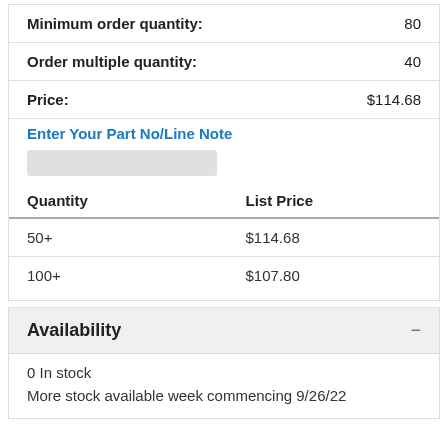|  |  |
| --- | --- |
| Minimum order quantity: | 80 |
| Order multiple quantity: | 40 |
| Price: | $114.68 |
Enter Your Part No/Line Note
| Quantity | List Price |
| --- | --- |
| 50+ | $114.68 |
| 100+ | $107.80 |
Availability
0 In stock
More stock available week commencing 9/26/22